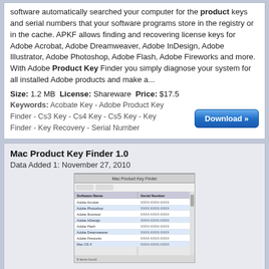software automatically searched your computer for the product keys and serial numbers that your software programs store in the registry or in the cache. APKF allows finding and recovering license keys for Adobe Acrobat, Adobe Dreamweaver, Adobe InDesign, Adobe Illustrator, Adobe Photoshop, Adobe Flash, Adobe Fireworks and more. With Adobe Product Key Finder you simply diagnose your system for all installed Adobe products and make a...
Size: 1.2 MB License: Shareware Price: $17.5
Keywords: Acobate Key - Adobe Product Key Finder - Cs3 Key - Cs4 Key - Cs5 Key - Key Finder - Key Recovery - Serial Number
[Figure (screenshot): Download button - blue rounded rectangle with arrows]
Mac Product Key Finder 1.0
Data Added 1: November 27, 2010
[Figure (screenshot): Screenshot of Mac Product Key Finder application window showing a table with software names and serial numbers]
A tool for recovering your lost product keys for Mac applications. Mac product key finder will scan your Mac for installed software and show you your serials numbers. The list can be saved to HTML, CSV, XML, PDF or TXT file or can be printed. Mac product key finder might be very useful for backup purposes to save all your serial numbers before it is too late. Furthermore, product key finder for Mac will recover your Mac serial number and serial numbers of your devices such as iPod.